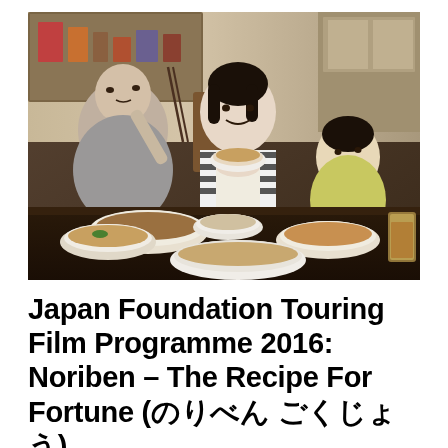[Figure (photo): A scene from the film showing three people around a dining table covered with multiple bowls of Japanese food. On the left is an older woman in gray clothing holding chopsticks and looking aside. In the center is a younger woman in a striped top and apron, smiling and holding a bowl. On the right is a young child in a yellow top looking toward the camera. The setting appears to be a Japanese home or small restaurant interior.]
Japan Foundation Touring Film Programme 2016: Noriben – The Recipe For Fortune (のりべん ごくじょう)